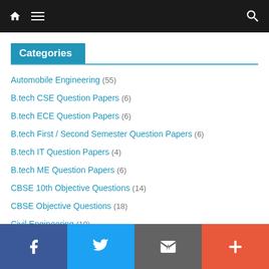Navigation bar with home, menu, and search icons
Categories
Automobile Engineering (55)
B.tech CSE Question Papers (6)
B.tech ECE Question Papers (6)
B.tech First / Second Semester Question Papers (6)
B.tech IT Question Papers (4)
B.tech ME Question Papers (6)
CBSE 10th Objective Questions (14)
CBSE Objective Questions (18)
Civil Engineering (10)
Social share bar: Facebook, Twitter, Email, Plus